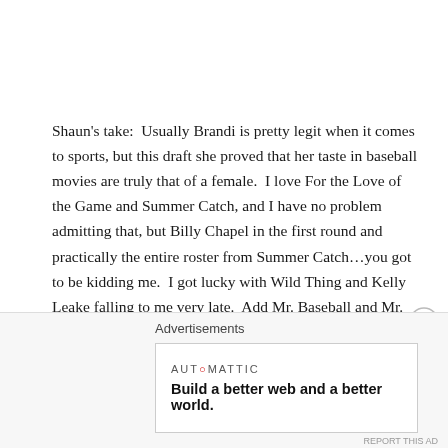Shaun's take:  Usually Brandi is pretty legit when it comes to sports, but this draft she proved that her taste in baseball movies are truly that of a female.  I love For the Love of the Game and Summer Catch, and I have no problem admitting that, but Billy Chapel in the first round and practically the entire roster from Summer Catch...you got to be kidding me.  I got lucky with Wild Thing and Kelly Leake falling to me very late.  Add Mr. Baseball and Mr. 3000 and I have a solid infield.  Plus, I own every pitching category.  Now, one of my utility spots is a better real ballplayer than fantasy, but Ed owned the hot
Advertisements
[Figure (other): Automattic advertisement banner: 'Build a better web and a better world.']